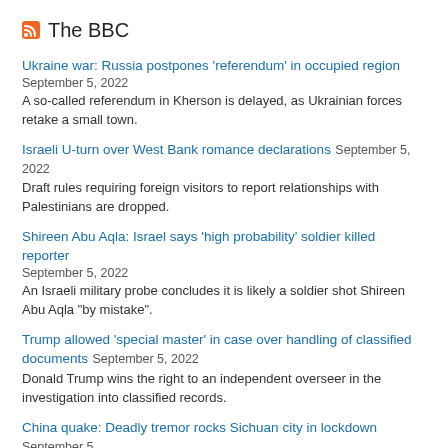The BBC
Ukraine war: Russia postpones 'referendum' in occupied region — September 5, 2022 — A so-called referendum in Kherson is delayed, as Ukrainian forces retake a small town.
Israeli U-turn over West Bank romance declarations — September 5, 2022 — Draft rules requiring foreign visitors to report relationships with Palestinians are dropped.
Shireen Abu Aqla: Israel says 'high probability' soldier killed reporter — September 5, 2022 — An Israeli military probe concludes it is likely a soldier shot Shireen Abu Aqla "by mistake".
Trump allowed 'special master' in case over handling of classified documents — September 5, 2022 — Donald Trump wins the right to an independent overseer in the investigation into classified records.
China quake: Deadly tremor rocks Sichuan city in lockdown — September 5, 2022 — Tremors hit days after Chengdu's 21 million people were told to stay